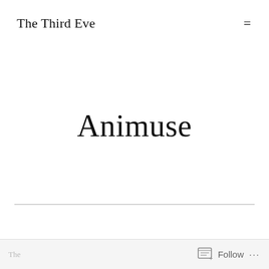The Third Eve  =
Animuse
Follow ...